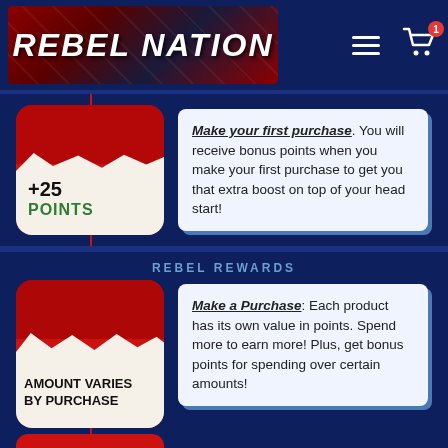REBEL NATION
[Figure (screenshot): Red card with +25 POINTS torn paper effect]
Make your first purchase. You will receive bonus points when you make your first purchase to get you that extra boost on top of your head start!
REBEL REWARDS
[Figure (screenshot): Red card with AMOUNT VARIES BY PURCHASE torn paper effect]
Make a Purchase: Each product has its own value in points. Spend more to earn more! Plus, get bonus points for spending over certain amounts!